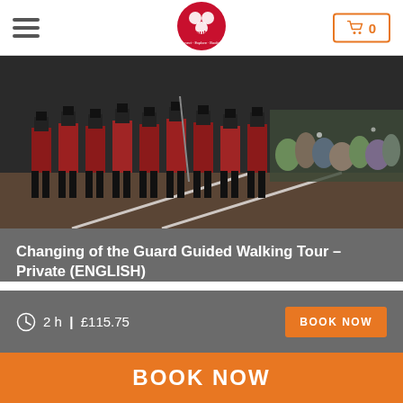hub [logo] | Cart 0
[Figure (photo): Changing of the Guard ceremony — rows of soldiers in red tunics and black bearskin hats marching, with crowds of spectators in the background]
Changing of the Guard Guided Walking Tour – Private (ENGLISH)
2 h | £115.75
BOOK NOW
[Figure (photo): Partial view of a person's face/head in front of a building, bottom of the page]
BOOK NOW